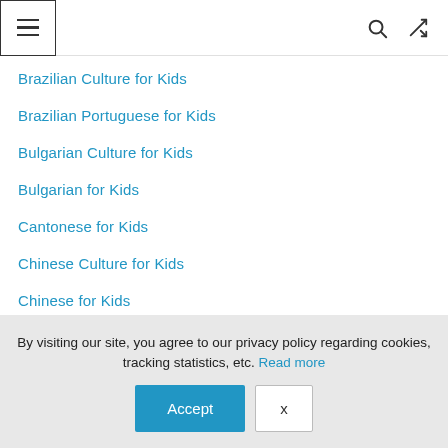Menu, Search, Shuffle icons
Brazilian Culture for Kids
Brazilian Portuguese for Kids
Bulgarian Culture for Kids
Bulgarian for Kids
Cantonese for Kids
Chinese Culture for Kids
Chinese for Kids
Croatian Culture for Kids
By visiting our site, you agree to our privacy policy regarding cookies, tracking statistics, etc. Read more
Accept  X